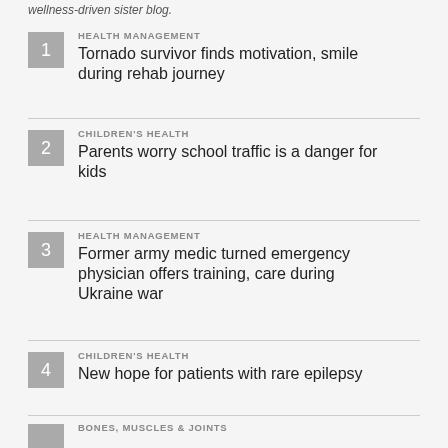wellness-driven sister blog.
HEALTH MANAGEMENT
Tornado survivor finds motivation, smile during rehab journey
CHILDREN'S HEALTH
Parents worry school traffic is a danger for kids
HEALTH MANAGEMENT
Former army medic turned emergency physician offers training, care during Ukraine war
CHILDREN'S HEALTH
New hope for patients with rare epilepsy
BONES, MUSCLES & JOINTS